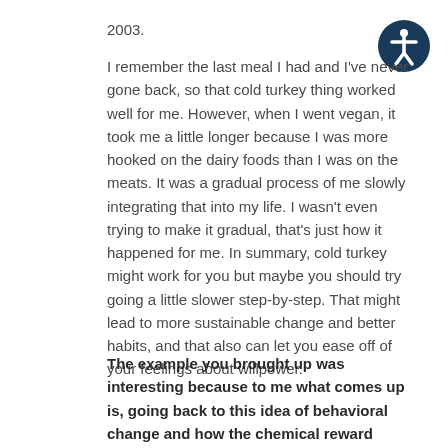2003.
I remember the last meal I had and I've never gone back, so that cold turkey thing worked well for me. However, when I went vegan, it took me a little longer because I was more hooked on the dairy foods than I was on the meats. It was a gradual process of me slowly integrating that into my life. I wasn't even trying to make it gradual, that's just how it happened for me. In summary, cold turkey might work for you but maybe you should try going a little slower step-by-step. That might lead to more sustainable change and better habits, and that also can let you ease off of your feelings about willpower.
The example you brought up was interesting because to me what comes up is, going back to this idea of behavioral change and how the chemical reward systems in our neurobiology work, which is one of the foundations of the article and the topic